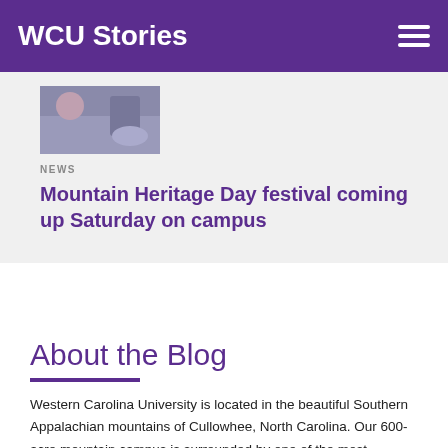WCU Stories
[Figure (photo): Partial image of a festival or outdoor event scene visible at the top of the card]
NEWS
Mountain Heritage Day festival coming up Saturday on campus
About the Blog
Western Carolina University is located in the beautiful Southern Appalachian mountains of Cullowhee, North Carolina. Our 600-acre mountain campus is surrounded by one of the most biodiverse regions in the state that provides